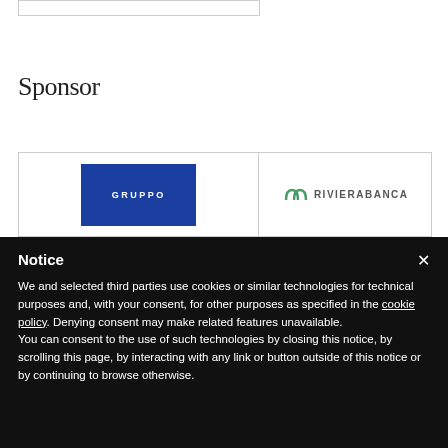Sponsor
[Figure (logo): GRUPPO logo — blue rectangle with white text 'GRUPPO' in uppercase spaced letters]
[Figure (logo): RivieraBanca logo — green double-arc icon followed by 'RIVIERABANCA' in bold uppercase letters]
Notice
We and selected third parties use cookies or similar technologies for technical purposes and, with your consent, for other purposes as specified in the cookie policy. Denying consent may make related features unavailable.
You can consent to the use of such technologies by closing this notice, by scrolling this page, by interacting with any link or button outside of this notice or by continuing to browse otherwise.